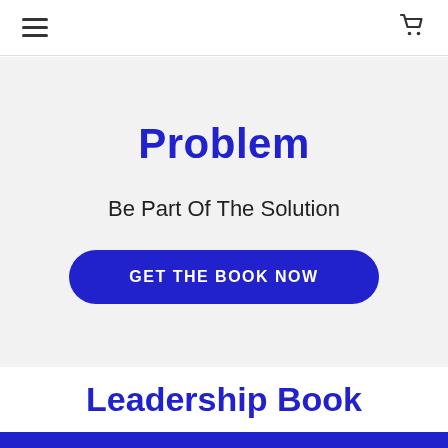☰  🛒
Problem
Be Part Of The Solution
GET THE BOOK NOW
Leadership Book
Cookie Poli...